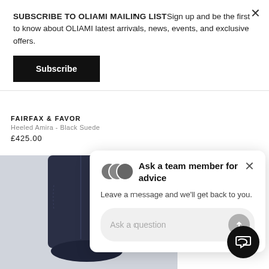SUBSCRIBE TO OLIAMI MAILING LISTSign up and be the first to know about OLIAMI latest arrivals, news, events, and exclusive offers.
Subscribe
FAIRFAX & FAVOR
Heeled Amira - Black Suede
£425.00
[Figure (photo): Dark navy blue tall boot with gold zipper detail]
Ask a team member for advice
Leave a message and we'll get back to you.
Ask a question